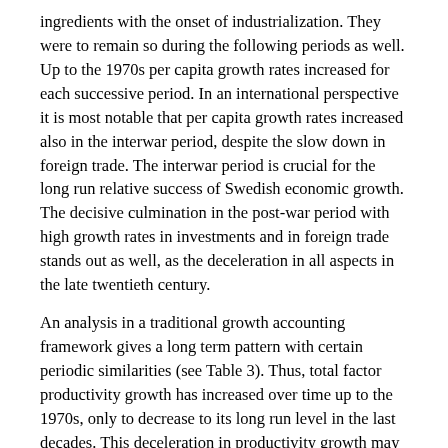ingredients with the onset of industrialization. They were to remain so during the following periods as well. Up to the 1970s per capita growth rates increased for each successive period. In an international perspective it is most notable that per capita growth rates increased also in the interwar period, despite the slow down in foreign trade. The interwar period is crucial for the long run relative success of Swedish economic growth. The decisive culmination in the post-war period with high growth rates in investments and in foreign trade stands out as well, as the deceleration in all aspects in the late twentieth century.
An analysis in a traditional growth accounting framework gives a long term pattern with certain periodic similarities (see Table 3). Thus, total factor productivity growth has increased over time up to the 1970s, only to decrease to its long run level in the last decades. This deceleration in productivity growth may be looked upon either as a failure of the “Swedish Model” to accommodate new growth forces or as another case of the “productivity paradox” in lieu of the information technology revolution.3
Table 3 Total Factor Productivity (TFP) Growth and Relative Contribution of Capital, Labor and TFP to GDP Growth in Sweden, 1840-2000
| Period | TFP Growth | Capital | Labor | TFP |
| --- | --- | --- | --- | --- |